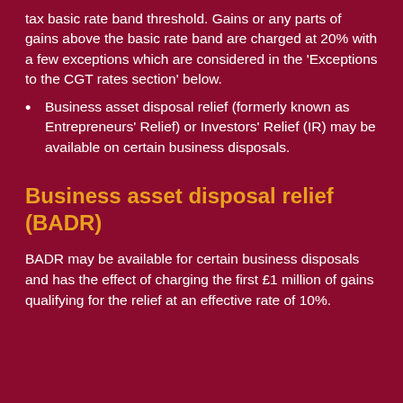tax basic rate band threshold. Gains or any parts of gains above the basic rate band are charged at 20% with a few exceptions which are considered in the 'Exceptions to the CGT rates section' below.
Business asset disposal relief (formerly known as Entrepreneurs' Relief) or Investors' Relief (IR) may be available on certain business disposals.
Business asset disposal relief (BADR)
BADR may be available for certain business disposals and has the effect of charging the first £1 million of gains qualifying for the relief at an effective rate of 10%.